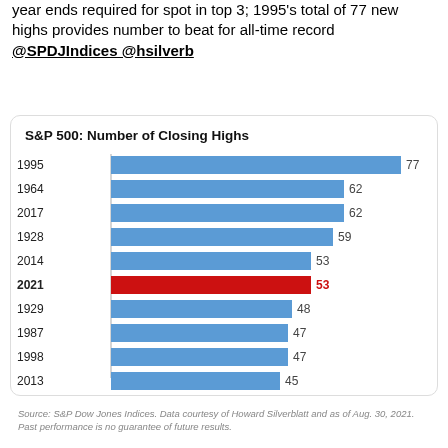year ends required for spot in top 3; 1995's total of 77 new highs provides number to beat for all-time record @SPDJIndices @hsilverb
[Figure (bar-chart): S&P 500: Number of Closing Highs]
Source: S&P Dow Jones Indices. Data courtesy of Howard Silverblatt and as of Aug. 30, 2021. Past performance is no guarantee of future results.